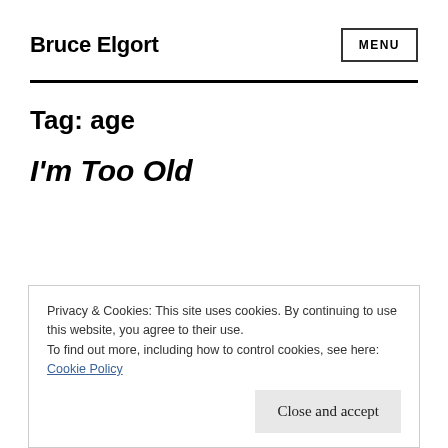Bruce Elgort
Tag: age
I'm Too Old
Privacy & Cookies: This site uses cookies. By continuing to use this website, you agree to their use.
To find out more, including how to control cookies, see here:
Cookie Policy
Close and accept